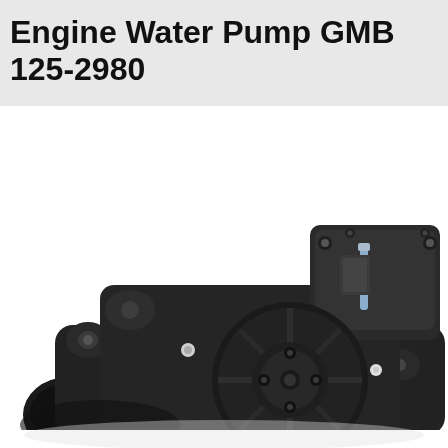Engine Water Pump GMB 125-2980
[Figure (photo): Close-up photo of an engine water pump, part number GMB 125-2980. The pump is dark/black in color, showing the back face with a circular impeller hub featuring bolt holes, mounting flanges with holes, and a metal pin/shaft visible on the upper right portion. The component is photographed against a white background.]